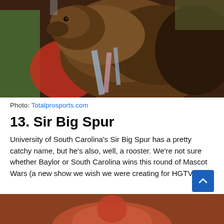[Figure (photo): A brown bear (Baylor University mascot) at a sporting event, held by handlers wearing red and green shirts, with harness straps visible]
Photo: Totalprosports.com
13. Sir Big Spur
University of South Carolina's Sir Big Spur has a pretty catchy name, but he's also, well, a rooster. We're not sure whether Baylor or South Carolina wins this round of Mascot Wars (a new show we wish we were creating for HGTV.)
[Figure (photo): Partial view of another mascot photo at the bottom of the page, showing reddish coloring]